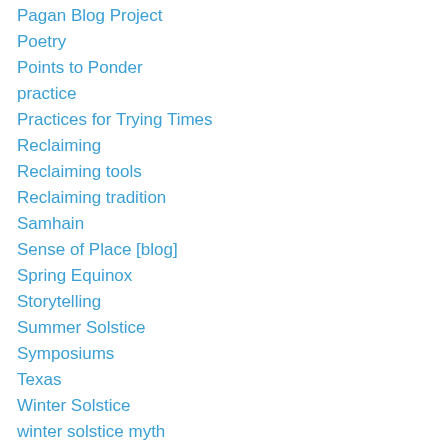Pagan Blog Project
Poetry
Points to Ponder
practice
Practices for Trying Times
Reclaiming
Reclaiming tools
Reclaiming tradition
Samhain
Sense of Place [blog]
Spring Equinox
Storytelling
Summer Solstice
Symposiums
Texas
Winter Solstice
winter solstice myth
Witchcraft
Women's Spirituality